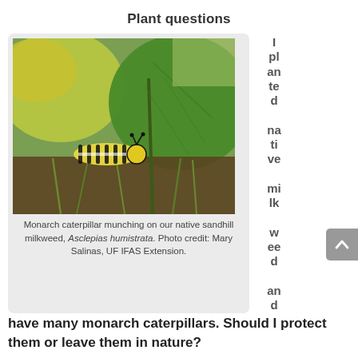Plant questions
[Figure (photo): A monarch caterpillar munching on large green leaves of sandhill milkweed (Asclepias humistrata), with grass and soil visible in the background.]
Monarch caterpillar munching on our native sandhill milkweed, Asclepias humistrata. Photo credit: Mary Salinas, UF IFAS Extension.
I planted native milkweed and have many monarch caterpillars. Should I protect them or leave them in nature?